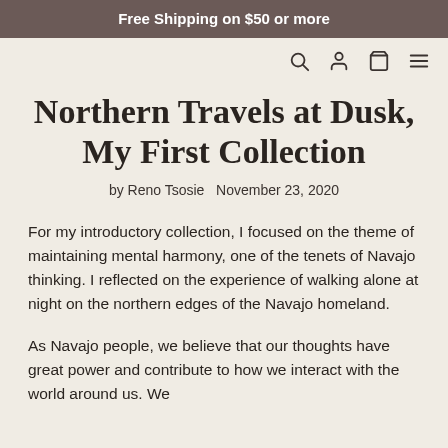Free Shipping on $50 or more
Northern Travels at Dusk, My First Collection
by Reno Tsosie  November 23, 2020
For my introductory collection, I focused on the theme of maintaining mental harmony, one of the tenets of Navajo thinking. I reflected on the experience of walking alone at night on the northern edges of the Navajo homeland.
As Navajo people, we believe that our thoughts have great power and contribute to how we interact with the world around us. We